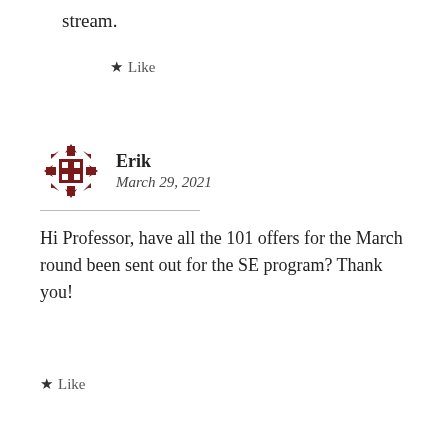stream.
★ Like
Erik
March 29, 2021
Hi Professor, have all the 101 offers for the March round been sent out for the SE program? Thank you!
★ Like